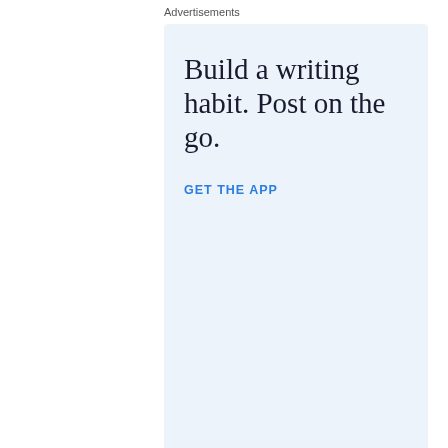Advertisements
[Figure (infographic): WordPress advertisement banner with light blue background. Headline: 'Build a writing habit. Post on the go.' with a 'GET THE APP' call-to-action link in blue and the WordPress logo icon in the bottom right corner.]
REPORT THIS AD
Share this:
Twitter
Facebook
Loading...